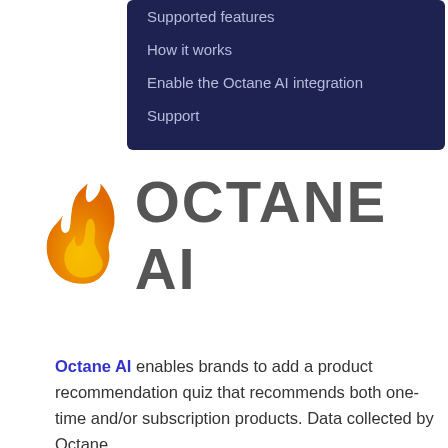Supported features
How it works
Enable the Octane AI integration
Support
[Figure (logo): Octane AI logo: orange flame icon followed by bold gray text OCTANE AI]
Octane AI enables brands to add a product recommendation quiz that recommends both one-time and/or subscription products. Data collected by Octane